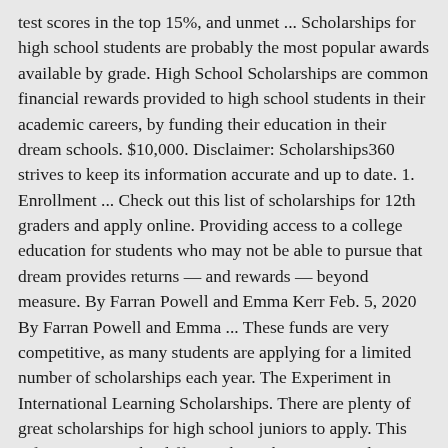test scores in the top 15%, and unmet ... Scholarships for high school students are probably the most popular awards available by grade. High School Scholarships are common financial rewards provided to high school students in their academic careers, by funding their education in their dream schools. $10,000. Disclaimer: Scholarships360 strives to keep its information accurate and up to date. 1. Enrollment ... Check out this list of scholarships for 12th graders and apply online. Providing access to a college education for students who may not be able to pursue that dream provides returns — and rewards — beyond measure. By Farran Powell and Emma Kerr Feb. 5, 2020 By Farran Powell and Emma ... These funds are very competitive, as many students are applying for a limited number of scholarships each year. The Experiment in International Learning Scholarships. There are plenty of great scholarships for high school juniors to apply. This information may be different than what you see when you visit a financial institution, service provider or specific product's site. Application Deadline: 3/23/2021 Amount: $5,000 BBB Foundation offers the Students of Integrity Scholarship to recognize high school ... © 2020 Scholarships360, LLC. Keep on reading to learn more about the great scholarship opportunities for high school juniors including award amounts, deadlines, and eligibility requirements! Will is the co-founder of Scholarships360. High school students and